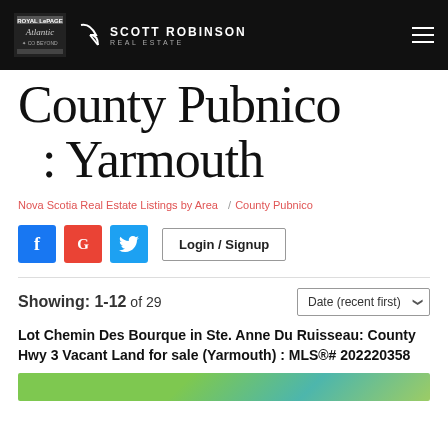ROYAL LePAGE Atlantic & Co Beyond | SCOTT ROBINSON REAL ESTATE
County Pubnico : Yarmouth
Nova Scotia Real Estate Listings by Area / County Pubnico
Login / Signup
Showing: 1-12 of 29
Date (recent first)
Lot Chemin Des Bourque in Ste. Anne Du Ruisseau: County Hwy 3 Vacant Land for sale (Yarmouth) : MLS®# 202220358
[Figure (photo): Partial property listing image showing green landscape]